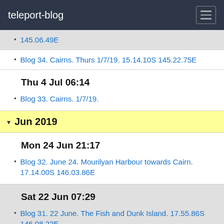teleport-blog
145.06.49E
Blog 34. Cairns. Thurs 1/7/19. 15.14.10S 145.22.75E
Thu 4 Jul 06:14
Blog 33. Cairns. 1/7/19.
Jun 2019
Mon 24 Jun 21:17
Blog 32. June 24. Mourilyan Harbour towards Cairn. 17.14.00S 146.03.86E
Sat 22 Jun 07:29
Blog 31. 22 June. The Fish and Dunk Island. 17.55.86S 146.08.22E
Fri 21 Jun 08:04
Blog 30. Thurs 20. Little Pioneer Bay, Orpheus Island. 18.35.96S 146.29.33E
Sun 16 Jun 08:45
Blog 29. Magnetic Island. June 16. 19.06.55S 146.51.41E